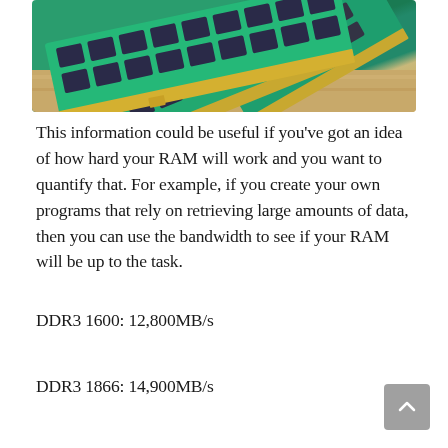[Figure (photo): Photo of multiple green RAM (DDR memory) sticks fanned out on a wooden surface, showing memory chips and gold contacts]
This information could be useful if you've got an idea of how hard your RAM will work and you want to quantify that. For example, if you create your own programs that rely on retrieving large amounts of data, then you can use the bandwidth to see if your RAM will be up to the task.
DDR3 1600: 12,800MB/s
DDR3 1866: 14,900MB/s